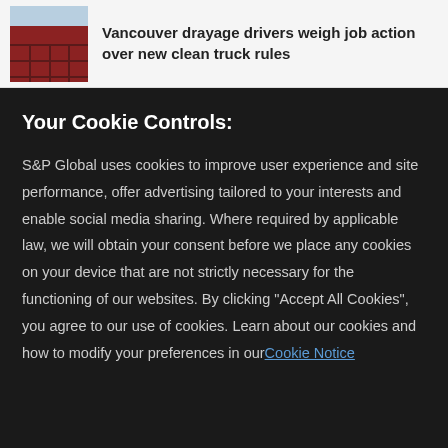[Figure (photo): Thumbnail photo of shipping containers stacked at a port]
Vancouver drayage drivers weigh job action over new clean truck rules
Your Cookie Controls:
S&P Global uses cookies to improve user experience and site performance, offer advertising tailored to your interests and enable social media sharing. Where required by applicable law, we will obtain your consent before we place any cookies on your device that are not strictly necessary for the functioning of our websites. By clicking "Accept All Cookies", you agree to our use of cookies. Learn about our cookies and how to modify your preferences in our Cookie Notice